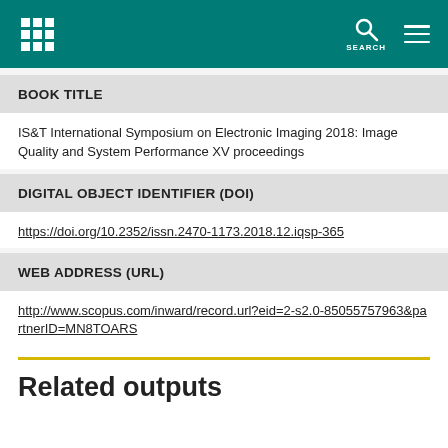IS&T [grid icon] SEARCH [menu icon]
BOOK TITLE
IS&T International Symposium on Electronic Imaging 2018: Image Quality and System Performance XV proceedings
DIGITAL OBJECT IDENTIFIER (DOI)
https://doi.org/10.2352/issn.2470-1173.2018.12.iqsp-365
WEB ADDRESS (URL)
http://www.scopus.com/inward/record.url?eid=2-s2.0-85055757963&partnerID=MN8TOARS
Related outputs